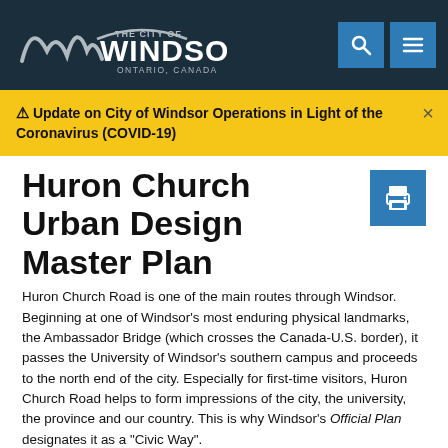The City of Windsor — Ontario, Canada (website header with search and menu icons)
⚠ Update on City of Windsor Operations in Light of the Coronavirus (COVID-19)
Huron Church Urban Design Master Plan
Huron Church Road is one of the main routes through Windsor. Beginning at one of Windsor's most enduring physical landmarks, the Ambassador Bridge (which crosses the Canada-U.S. border), it passes the University of Windsor's southern campus and proceeds to the north end of the city. Especially for first-time visitors, Huron Church Road helps to form impressions of the city, the university, the province and our country. This is why Windsor's Official Plan designates it as a "Civic Way".
In 2004, Windsor City Council adopted an urban design agenda called WindsorSEEN. Among the most urgent of its 35 activities is